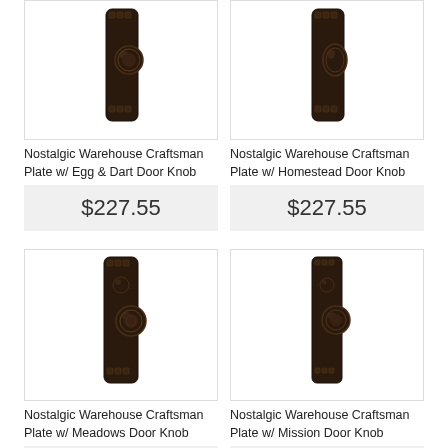[Figure (photo): Nostalgic Warehouse Craftsman Plate with Egg & Dart Door Knob, dark bronze finish, top-left product]
[Figure (photo): Nostalgic Warehouse Craftsman Plate with Homestead Door Knob, dark bronze finish, top-right product]
Nostalgic Warehouse Craftsman Plate w/ Egg & Dart Door Knob
Nostalgic Warehouse Craftsman Plate w/ Homestead Door Knob
$227.55
$227.55
[Figure (photo): Nostalgic Warehouse Craftsman Plate with Meadows Door Knob, dark bronze finish, bottom-left product]
[Figure (photo): Nostalgic Warehouse Craftsman Plate with Mission Door Knob, dark bronze finish, bottom-right product]
Nostalgic Warehouse Craftsman Plate w/ Meadows Door Knob
Nostalgic Warehouse Craftsman Plate w/ Mission Door Knob
$227.55
$227.55